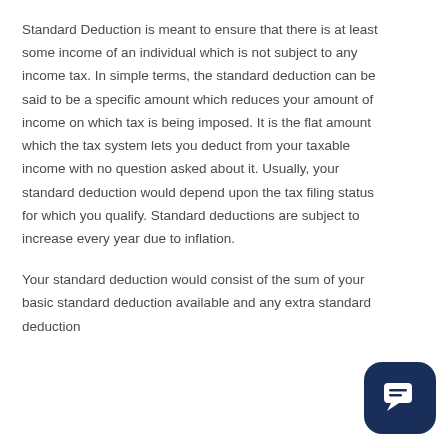Standard Deduction is meant to ensure that there is at least some income of an individual which is not subject to any income tax. In simple terms, the standard deduction can be said to be a specific amount which reduces your amount of income on which tax is being imposed. It is the flat amount which the tax system lets you deduct from your taxable income with no question asked about it. Usually, your standard deduction would depend upon the tax filing status for which you qualify. Standard deductions are subject to increase every year due to inflation.
Your standard deduction would consist of the sum of your basic standard deduction available and any extra standard deduction
[Figure (other): Chat/messaging app icon button — dark navy blue rounded square with a white speech bubble and lines symbol]